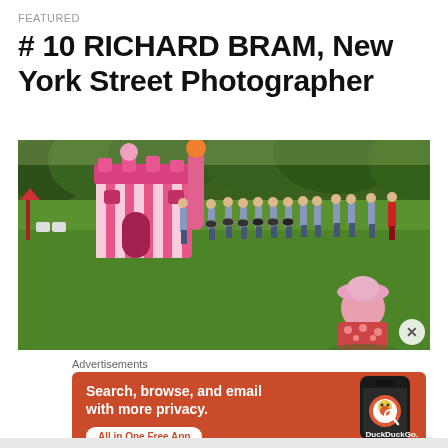FEATURED
# 10 RICHARD BRAM, New York Street Photographer
[Figure (photo): Outdoor scene on a grass field: a group of uniformed young musicians/marching band members standing in a line holding drums, in front of a large pink and white striped inflatable bouncy castle. Trees in the background. In the foreground bottom right, a woman in a pink hat and floral top is visible from behind. A red umbrella and white chairs are visible on the left.]
Advertisements
[Figure (screenshot): DuckDuckGo advertisement banner with orange/red background. Text reads: 'Search, browse, and email with more privacy. All in One Free App'. Shows a smartphone with the DuckDuckGo app and logo.]